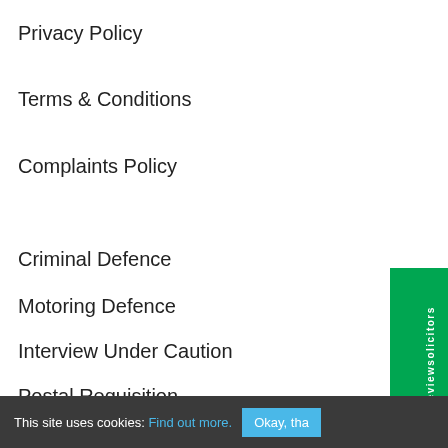Privacy Policy
Terms & Conditions
Complaints Policy
Criminal Defence
Motoring Defence
Interview Under Caution
Postal Requisition
This site uses cookies: Find out more. Okay, tha…